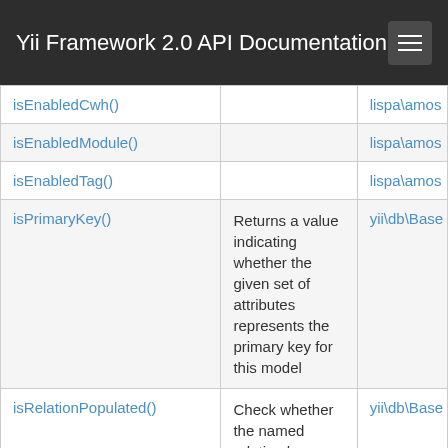Yii Framework 2.0 API Documentation
| Method | Description | Defined By |
| --- | --- | --- |
| isEnabledCwh() |  | lispa\amos |
| isEnabledModule() |  | lispa\amos |
| isEnabledTag() |  | lispa\amos |
| isPrimaryKey() | Returns a value indicating whether the given set of attributes represents the primary key for this model | yii\db\Base |
| isRelationPopulated() | Check whether the named relation has been populated with records. | yii\db\Base |
| isTransactional() | Returns a value | yii\db\Activ |